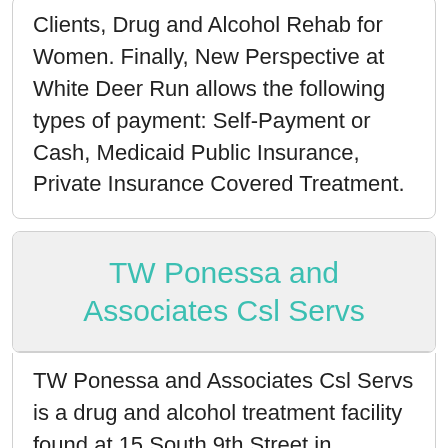Clients, Drug and Alcohol Rehab for Women. Finally, New Perspective at White Deer Run allows the following types of payment: Self-Payment or Cash, Medicaid Public Insurance, Private Insurance Covered Treatment.
TW Ponessa and Associates Csl Servs
TW Ponessa and Associates Csl Servs is a drug and alcohol treatment facility found at 15 South 9th Street in Lebanon, Pennsylvania.